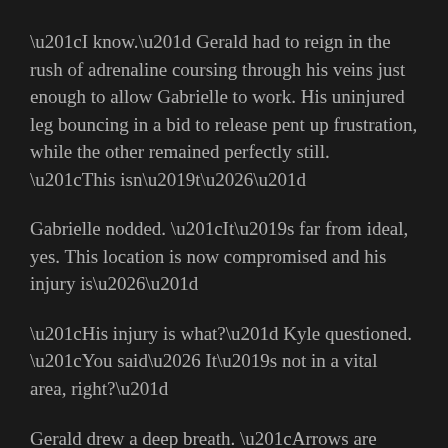“I know.” Gerald had to reign in the rush of adrenaline coursing through his veins just enough to allow Gabrielle to work. His uninjured leg bouncing in a bid to release pent up frustration, while the other remained perfectly still. “This isn’t…”
Gabrielle nodded. “It’s far from ideal, yes. This location is now compromised and his injury is…”
“His injury is what?” Kyle questioned. “You said… It’s not in a vital area, right?”
Gerald drew a deep breath. “Arrows are designed to tear through flesh when yanked out. Some heads can do a tremendous amount of damage even if pushed through, so—”